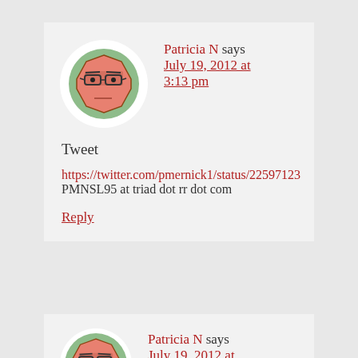[Figure (illustration): Cartoon avatar of a grumpy octagon-shaped face with glasses on green circular background]
Patricia N says
July 19, 2012 at
3:13 pm
Tweet
https://twitter.com/pmernick1/status/22597123...
PMNSL95 at triad dot rr dot com
Reply
[Figure (illustration): Cartoon avatar of a grumpy octagon-shaped face with glasses on green circular background (second instance)]
Patricia N says
July 19, 2012 at